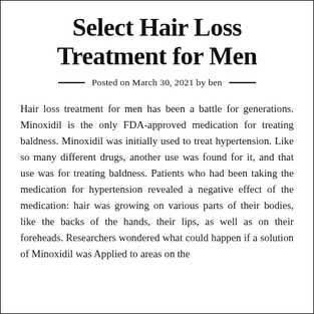Select Hair Loss Treatment for Men
Posted on March 30, 2021 by ben
Hair loss treatment for men has been a battle for generations. Minoxidil is the only FDA-approved medication for treating baldness. Minoxidil was initially used to treat hypertension. Like so many different drugs, another use was found for it, and that use was for treating baldness. Patients who had been taking the medication for hypertension revealed a negative effect of the medication: hair was growing on various parts of their bodies, like the backs of the hands, their lips, as well as on their foreheads. Researchers wondered what could happen if a solution of Minoxidil was Applied to areas on the